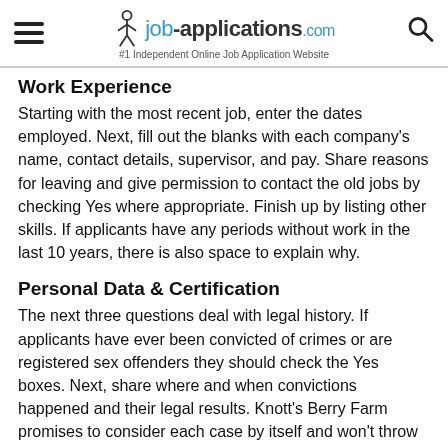job-applications.com — #1 Independent Online Job Application Website
Work Experience
Starting with the most recent job, enter the dates employed. Next, fill out the blanks with each company's name, contact details, supervisor, and pay. Share reasons for leaving and give permission to contact the old jobs by checking Yes where appropriate. Finish up by listing other skills. If applicants have any periods without work in the last 10 years, there is also space to explain why.
Personal Data & Certification
The next three questions deal with legal history. If applicants have ever been convicted of crimes or are registered sex offenders they should check the Yes boxes. Next, share where and when convictions happened and their legal results. Knott's Berry Farm promises to consider each case by itself and won't throw out applications just